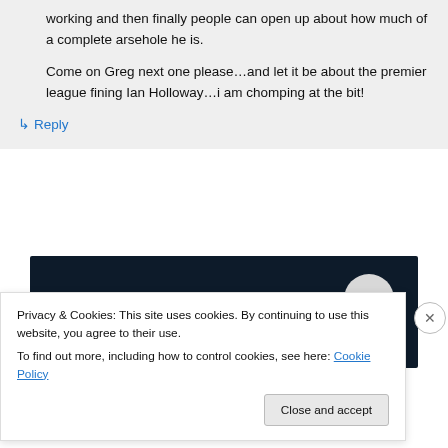working and then finally people can open up about how much of a complete arsehole he is.

Come on Greg next one please…and let it be about the premier league fining Ian Holloway…i am chomping at the bit!
↳ Reply
[Figure (screenshot): Dark navy background image with a pink horizontal bar and a light grey circle on the right]
Privacy & Cookies: This site uses cookies. By continuing to use this website, you agree to their use.
To find out more, including how to control cookies, see here: Cookie Policy
Close and accept